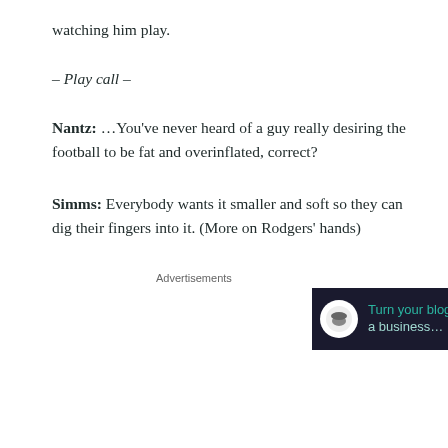watching him play.
– Play call –
Nantz: …You've never heard of a guy really desiring the football to be fat and overinflated, correct?
Simms: Everybody wants it smaller and soft so they can dig their fingers into it. (More on Rodgers' hands)
Advertisements
[Figure (other): Advertisement banner with dark background showing 'Turn your blog into a ...' with mushroom icon and arrow]